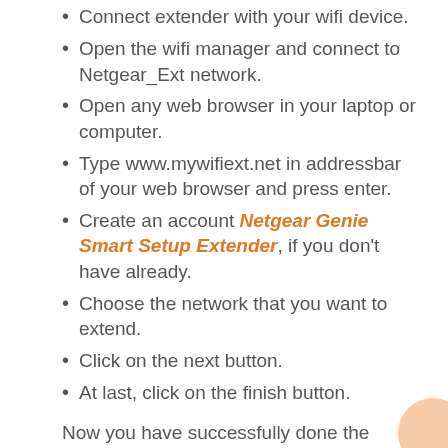Connect extender with your wifi device.
Open the wifi manager and connect to Netgear_Ext network.
Open any web browser in your laptop or computer.
Type www.mywifiext.net in addressbar of your web browser and press enter.
Create an account Netgear Genie Smart Setup Extender, if you don't have already.
Choose the network that you want to extend.
Click on the next button.
At last, click on the finish button.
Now you have successfully done the Netgear Extender setup, place your extender anywhere you like.
Netgear Extender Setup: WPS Method